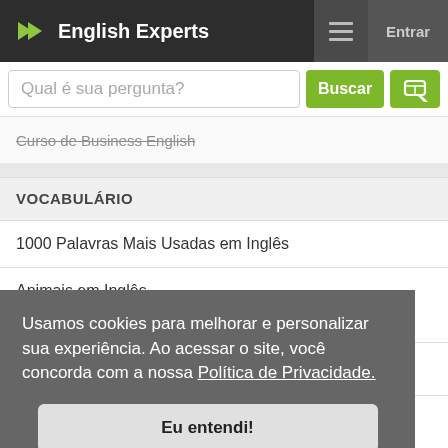English Experts
Qual é sua pergunta?
Curso de Business English
VOCABULÁRIO
1000 Palavras Mais Usadas em Inglês
Animais em Inglês
Usamos cookies para melhorar e personalizar sua experiência. Ao acessar o site, você concorda com a nossa Política de Privacidade.
Eu entendi!
Esportes em inglês